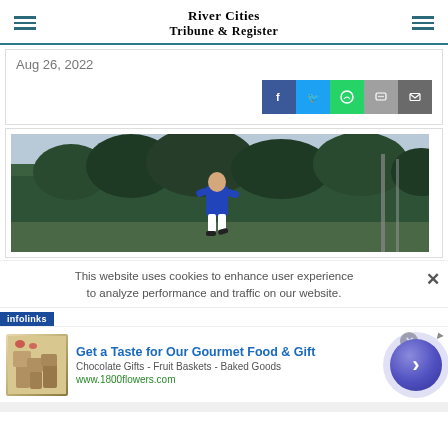River Cities Tribune & Register
Aug 26, 2022
[Figure (photo): Soccer/sports player in blue jersey running outdoors with trees in background]
This website uses cookies to enhance user experience to analyze performance and traffic on our website.
infolinks
Get a Taste for Our Gourmet Food & Gift
Chocolate Gifts - Fruit Baskets - Baked Goods
www.1800flowers.com